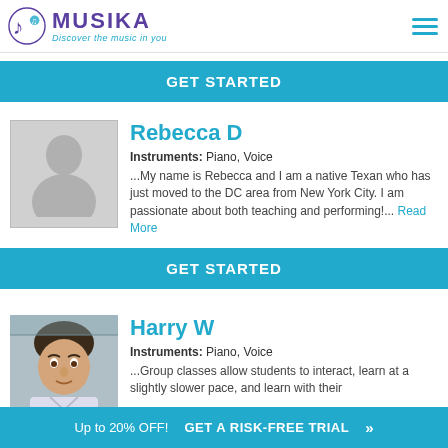MUSIKA – Discover the music in you
GET STARTED
Rebecca D
Instruments: Piano, Voice
...My name is Rebecca and I am a native Texan who has just moved to the DC area from New York City. I am passionate about both teaching and performing!... Read More
GET STARTED
Harry W
Instruments: Piano, Voice
...Group classes allow students to interact, learn at a slightly slower pace, and learn with their
Up to 20% OFF! GET A RISK-FREE TRIAL »